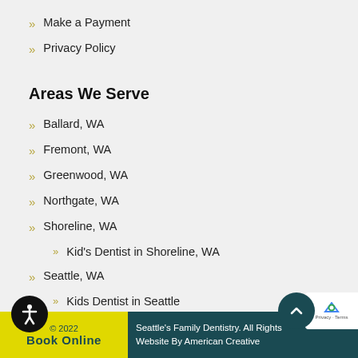Make a Payment
Privacy Policy
Areas We Serve
Ballard, WA
Fremont, WA
Greenwood, WA
Northgate, WA
Shoreline, WA
Kid's Dentist in Shoreline, WA
Seattle, WA
Kids Dentist in Seattle
Dental Implants in Seattle
© 2022  Seattle's Family Dentistry. All Rights Reserved. Website By American Creative